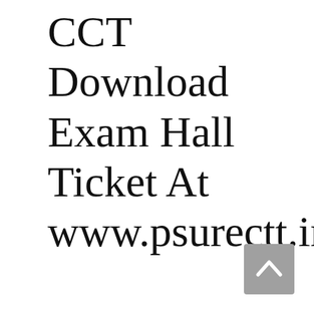CCT Download Exam Hall Ticket At www.psurectt.in
[Figure (other): Scroll-to-top button: a gray square button with an upward-pointing chevron arrow icon in the bottom-right corner of the page.]